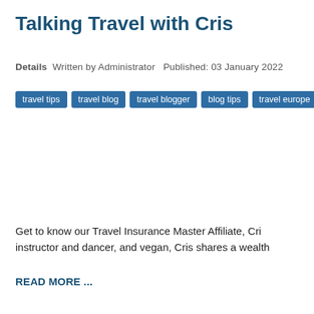Talking Travel with Cris
Details  Written by Administrator  Published: 03 January 2022
travel tips
travel blog
travel blogger
blog tips
travel europe
travel g
Get to know our Travel Insurance Master Affiliate, Cri... instructor and dancer, and vegan, Cris shares a wealth...
READ MORE ...